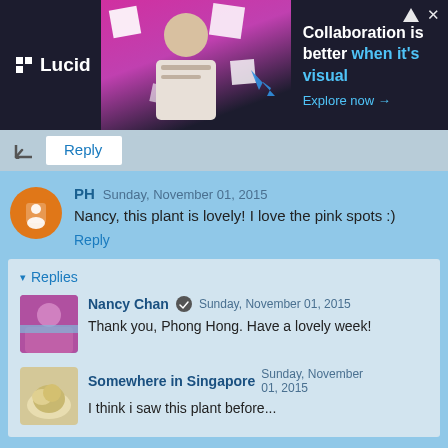[Figure (screenshot): Lucid advertisement banner: dark background with illustration of person, text 'Collaboration is better when it's visual. Explore now →']
Reply
PH  Sunday, November 01, 2015
Nancy, this plant is lovely! I love the pink spots :)
Reply
▾  Replies
Nancy Chan  Sunday, November 01, 2015
Thank you, Phong Hong. Have a lovely week!
Somewhere in Singapore  Sunday, November 01, 2015
I think i saw this plant before...